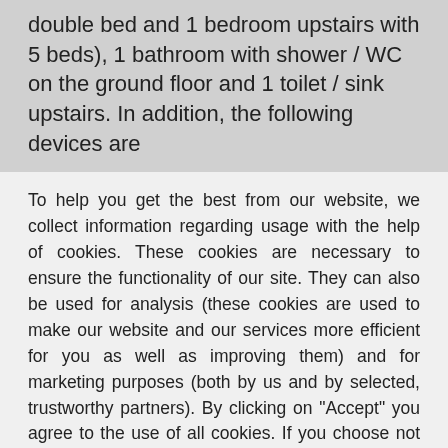double bed and 1 bedroom upstairs with 5 beds), 1 bathroom with shower / WC on the ground floor and 1 toilet / sink upstairs. In addition, the following devices are
To help you get the best from our website, we collect information regarding usage with the help of cookies. These cookies are necessary to ensure the functionality of our site. They can also be used for analysis (these cookies are used to make our website and our services more efficient for you as well as improving them) and for marketing purposes (both by us and by selected, trustworthy partners). By clicking on "Accept" you agree to the use of all cookies. If you choose not to, you can select the cookies you are happy to use here. Click here for more information about our privacy policy.
Accept
Decline
Configure